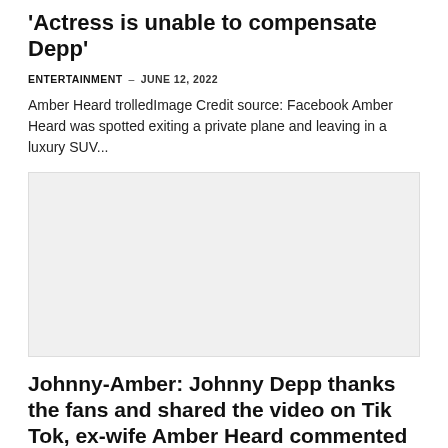'Actress is unable to compensate Depp'
ENTERTAINMENT — JUNE 12, 2022
Amber Heard trolledImage Credit source: Facebook Amber Heard was spotted exiting a private plane and leaving in a luxury SUV...
[Figure (photo): Blank/placeholder image area]
Johnny-Amber: Johnny Depp thanks the fans and shared the video on Tik Tok, ex-wife Amber Heard commented